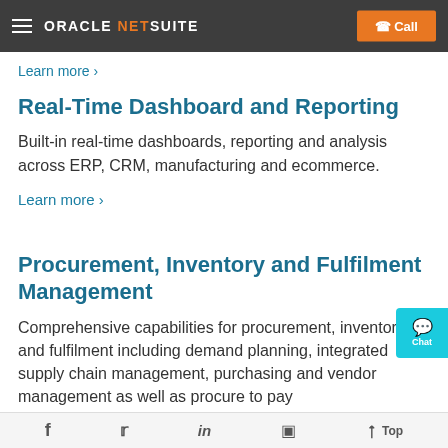ORACLE NETSUITE | Call
Learn more >
Real-Time Dashboard and Reporting
Built-in real-time dashboards, reporting and analysis across ERP, CRM, manufacturing and ecommerce.
Learn more >
Procurement, Inventory and Fulfilment Management
Comprehensive capabilities for procurement, inventory and fulfilment including demand planning, integrated supply chain management, purchasing and vendor management as well as procure to pay...
f  t  in  [icon]  Top